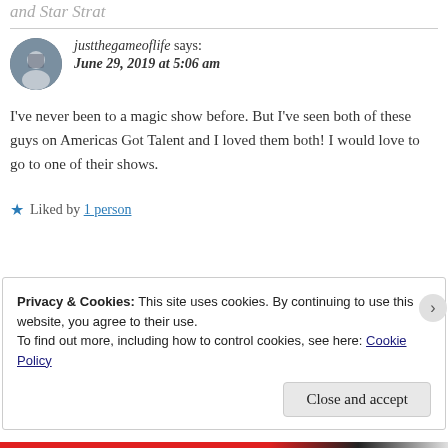and Star Strat
justthegameoflife says:
June 29, 2019 at 5:06 am
I've never been to a magic show before. But I've seen both of these guys on Americas Got Talent and I loved them both! I would love to go to one of their shows.
★ Liked by 1 person
Privacy & Cookies: This site uses cookies. By continuing to use this website, you agree to their use.
To find out more, including how to control cookies, see here: Cookie Policy
Close and accept